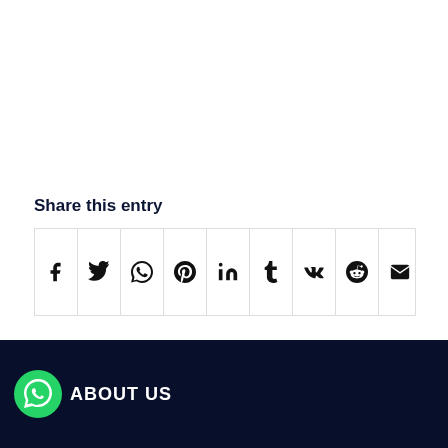Share this entry
[Figure (infographic): Social media share buttons row: Facebook, Twitter, WhatsApp, Pinterest, LinkedIn, Tumblr, VK, Reddit, Email]
ABOUT US